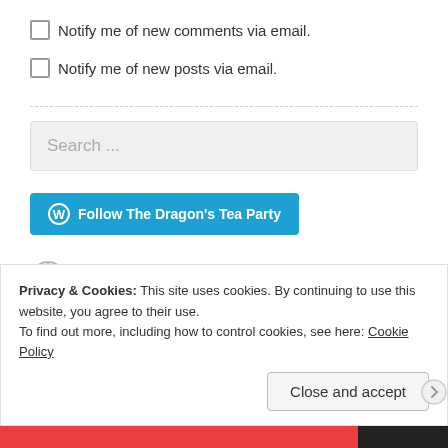☐ Notify me of new comments via email.
☐ Notify me of new posts via email.
[Figure (screenshot): Search input field with placeholder text 'Search ...']
[Figure (screenshot): Blue WordPress follow button: 'Follow The Dragon's Tea Party']
Join the Tea Party!
Privacy & Cookies: This site uses cookies. By continuing to use this website, you agree to their use.
To find out more, including how to control cookies, see here: Cookie Policy
[Figure (screenshot): Close and accept button]